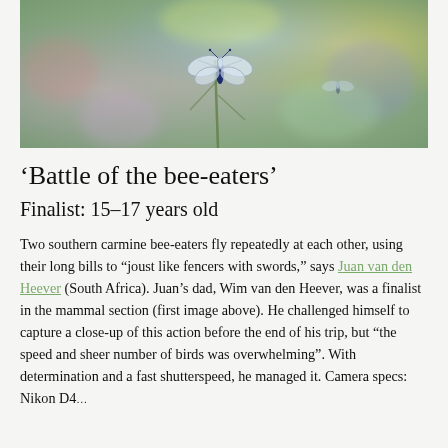[Figure (photo): A macro photograph of a butterfly or dragonfly perched on a plant stem, set against a soft bokeh background of green, yellow, purple and blue foliage.]
‘Battle of the bee-eaters’
Finalist: 15–17 years old
Two southern carmine bee-eaters fly repeatedly at each other, using their long bills to “joust like fencers with swords,” says Juan van den Heever (South Africa). Juan’s dad, Wim van den Heever, was a finalist in the mammal section (first image above). He challenged himself to capture a close-up of this action before the end of his trip, but “the speed and sheer number of birds was overwhelming”. With determination and a fast shutterspeed, he managed it. Camera specs: Nikon D4…